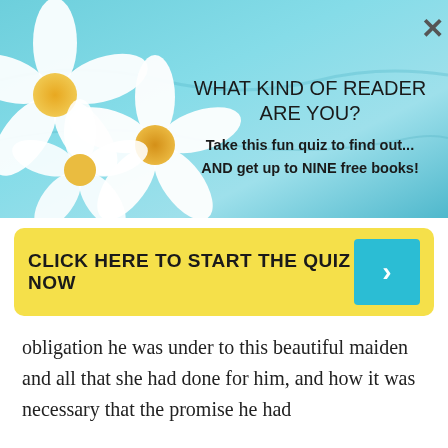[Figure (illustration): Banner advertisement with a tropical background in shades of blue/teal, featuring white plumeria flowers on the left side and text on the right. An X close button appears in the top-right corner.]
WHAT KIND OF READER ARE YOU?
Take this fun quiz to find out... AND get up to NINE free books!
CLICK HERE TO START THE QUIZ NOW
obligation he was under to this beautiful maiden and all that she had done for him, and how it was necessary that the promise he had